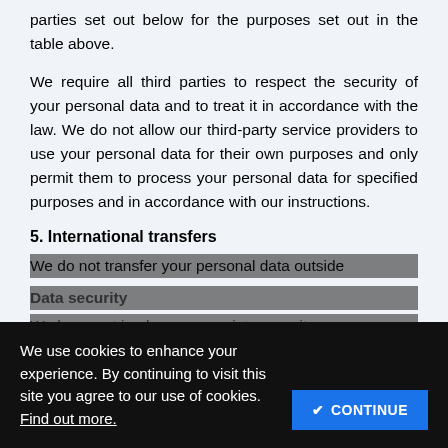parties set out below for the purposes set out in the table above.
We require all third parties to respect the security of your personal data and to treat it in accordance with the law. We do not allow our third-party service providers to use your personal data for their own purposes and only permit them to process your personal data for specified purposes and in accordance with our instructions.
5. International transfers
We do not transfer your personal data outside
Data security
We have put in place appropriate security
We use cookies to enhance your experience. By continuing to visit this site you agree to our use of cookies. Find out more.